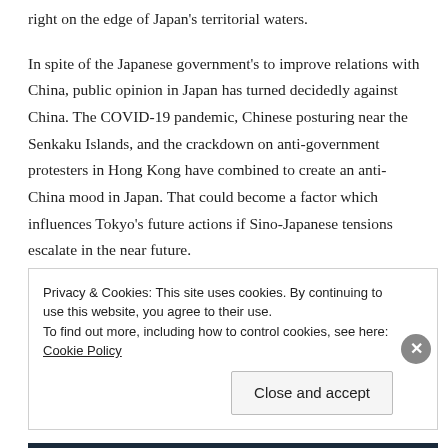right on the edge of Japan's territorial waters.
In spite of the Japanese government's to improve relations with China, public opinion in Japan has turned decidedly against China. The COVID-19 pandemic, Chinese posturing near the Senkaku Islands, and the crackdown on anti-government protesters in Hong Kong have combined to create an anti-China mood in Japan. That could become a factor which influences Tokyo's future actions if Sino-Japanese tensions escalate in the near future.
Privacy & Cookies: This site uses cookies. By continuing to use this website, you agree to their use. To find out more, including how to control cookies, see here: Cookie Policy
Close and accept